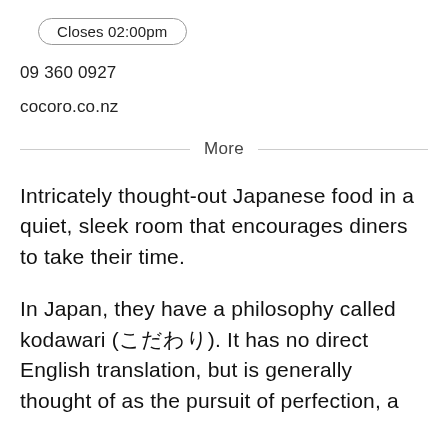Closes 02:00pm
09 360 0927
cocoro.co.nz
More
Intricately thought-out Japanese food in a quiet, sleek room that encourages diners to take their time.
In Japan, they have a philosophy called kodawari (こだわり). It has no direct English translation, but is generally thought of as the pursuit of perfection, a